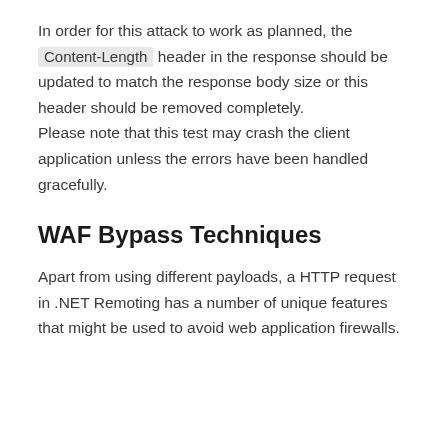In order for this attack to work as planned, the Content-Length header in the response should be updated to match the response body size or this header should be removed completely. Please note that this test may crash the client application unless the errors have been handled gracefully.
WAF Bypass Techniques
Apart from using different payloads, a HTTP request in .NET Remoting has a number of unique features that might be used to avoid web application firewalls.